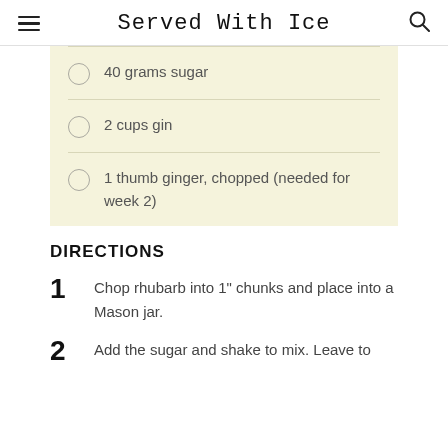Served With Ice
40 grams sugar
2 cups gin
1 thumb ginger, chopped (needed for week 2)
DIRECTIONS
1 Chop rhubarb into 1" chunks and place into a Mason jar.
2 Add the sugar and shake to mix. Leave to